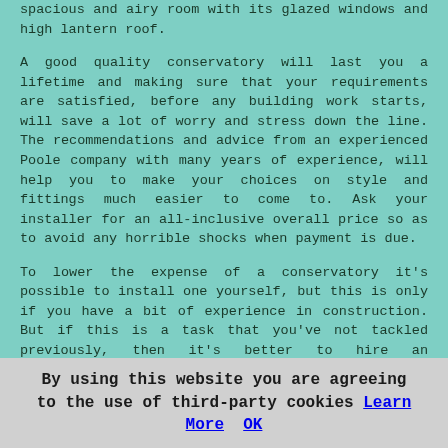spacious and airy room with its glazed windows and high lantern roof.
A good quality conservatory will last you a lifetime and making sure that your requirements are satisfied, before any building work starts, will save a lot of worry and stress down the line. The recommendations and advice from an experienced Poole company with many years of experience, will help you to make your choices on style and fittings much easier to come to. Ask your installer for an all-inclusive overall price so as to avoid any horrible shocks when payment is due.
To lower the expense of a conservatory it's possible to install one yourself, but this is only if you have a bit of experience in construction. But if this is a task that you've not tackled previously, then it's better to hire an established installer in Poole. A professional installation company may cost you a little bit more initially, but it will cost you far more in stress and potential later problems, should you botch a self-install.
Obtain 3 or 4 estimates from a number of conservatory installation companies to make sure that you get the best
By using this website you are agreeing to the use of third-party cookies Learn More  OK